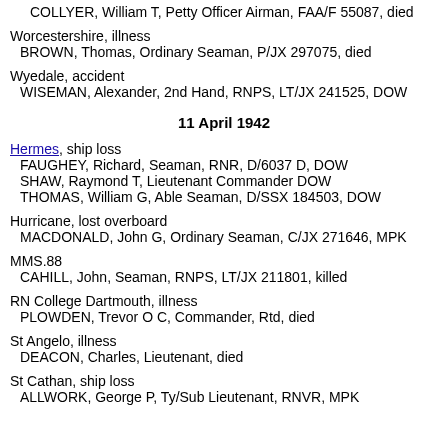COLLYER, William T, Petty Officer Airman, FAA/F 55087, died
Worcestershire, illness
BROWN, Thomas, Ordinary Seaman, P/JX 297075, died
Wyedale, accident
WISEMAN, Alexander, 2nd Hand, RNPS, LT/JX 241525, DOW
11 April 1942
Hermes, ship loss
FAUGHEY, Richard, Seaman, RNR, D/6037 D, DOW
SHAW, Raymond T, Lieutenant Commander DOW
THOMAS, William G, Able Seaman, D/SSX 184503, DOW
Hurricane, lost overboard
MACDONALD, John G, Ordinary Seaman, C/JX 271646, MPK
MMS.88
CAHILL, John, Seaman, RNPS, LT/JX 211801, killed
RN College Dartmouth, illness
PLOWDEN, Trevor O C, Commander, Rtd, died
St Angelo, illness
DEACON, Charles, Lieutenant, died
St Cathan, ship loss
ALLWORK, George P, Ty/Sub Lieutenant, RNVR, MPK